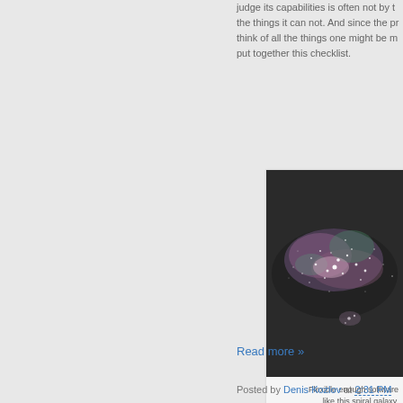judge its capabilities is often not by the things it can not. And since the program think of all the things one might be m... put together this checklist.
[Figure (photo): A spiral galaxy image with pink and purple nebulae and bright star clusters against a dark background]
Flexible enough software like this spiral galaxy,
Read more »
Posted by Denis Kozlov at 2:31 PM    No co